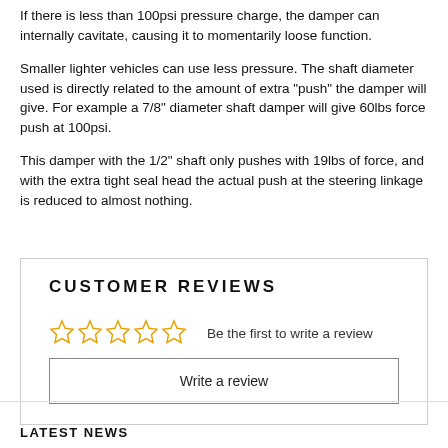If there is less than 100psi pressure charge, the damper can internally cavitate, causing it to momentarily loose function.
Smaller lighter vehicles can use less pressure. The shaft diameter used is directly related to the amount of extra "push" the damper will give. For example a 7/8" diameter shaft damper will give 60lbs force push at 100psi.
This damper with the 1/2" shaft only pushes with 19lbs of force, and with the extra tight seal head the actual push at the steering linkage is reduced to almost nothing.
CUSTOMER REVIEWS
Be the first to write a review
Write a review